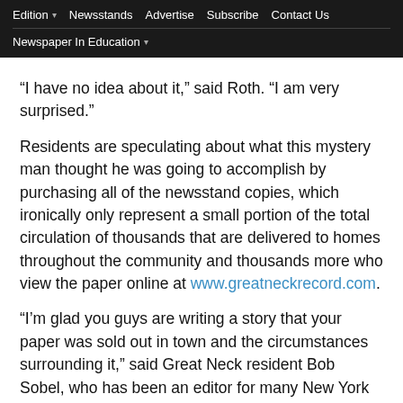Edition ▾   Newsstands   Advertise   Subscribe   Contact Us   Newspaper In Education ▾
“I have no idea about it,” said Roth. “I am very surprised.”
Residents are speculating about what this mystery man thought he was going to accomplish by purchasing all of the newsstand copies, which ironically only represent a small portion of the total circulation of thousands that are delivered to homes throughout the community and thousands more who view the paper online at www.greatneckrecord.com.
“I’m glad you guys are writing a story that your paper was sold out in town and the circumstances surrounding it,” said Great Neck resident Bob Sobel, who has been an editor for many New York City newspapers. “I had tried buying the paper on Thursday at six different vendors, who told me a